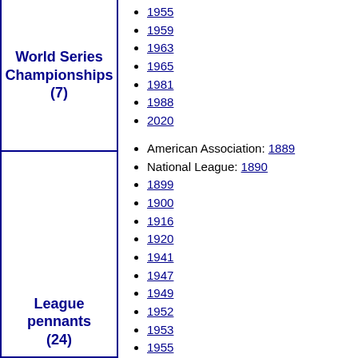| Category | Years |
| --- | --- |
| World Series Championships (7) | 1955, 1959, 1963, 1965, 1981, 1988, 2020 |
| League pennants (24) | American Association: 1889, National League: 1890, 1899, 1900, 1916, 1920, 1941, 1947, 1949, 1952, 1953, 1955, 1956, 1959, 1963, 1965, 1966 |